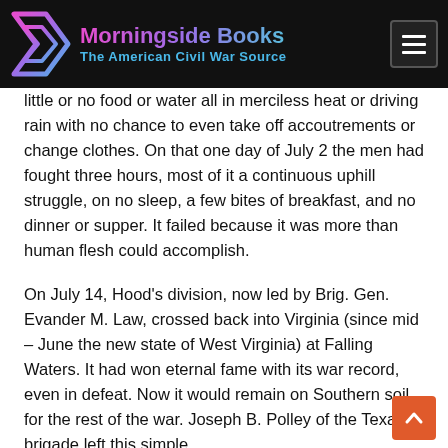Morningside Books – The American Civil War Source
little or no food or water all in merciless heat or driving rain with no chance to even take off accoutrements or change clothes. On that one day of July 2 the men had fought three hours, most of it a continuous uphill struggle, on no sleep, a few bites of breakfast, and no dinner or supper. It failed because it was more than human flesh could accomplish.
On July 14, Hood's division, now led by Brig. Gen. Evander M. Law, crossed back into Virginia (since mid – June the new state of West Virginia) at Falling Waters. It had won eternal fame with its war record, even in defeat. Now it would remain on Southern soil for the rest of the war. Joseph B. Polley of the Texas brigade left this simple…